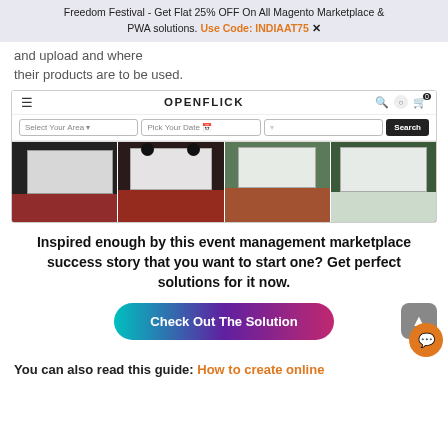Freedom Festival - Get Flat 25% OFF On All Magento Marketplace & PWA solutions. Use Code: INDIAAT75 ✕
and upload and where their products are to be used.
[Figure (screenshot): Screenshot of OPENFLICK event management marketplace website showing navigation bar with hamburger menu, brand name, search/cart icons, a search form with 'Select Your Area', 'Pick Your Date', and location dropdowns plus a Search button, and four thumbnail images of outdoor/inflatable movie screen setups with bean bag seating]
Inspired enough by this event management marketplace success story that you want to start one? Get perfect solutions for it now.
[Figure (other): Check Out The Solution button with gradient from teal to purple to pink, rounded pill shape]
You can also read this guide: How to create online